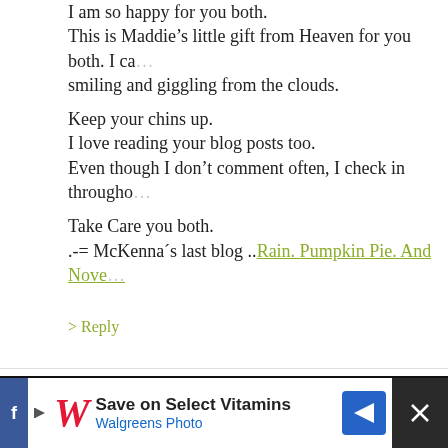I am so happy for you both.
This is Maddie's little gift from Heaven for you both. I ca… smiling and giggling from the clouds.
Keep your chins up.
I love reading your blog posts too.
Even though I don't comment often, I check in througho…
Take Care you both.
.-= McKenna's last blog ..Rain. Pumpkin Pie. And Nove…
> Reply
221. Julie says:
SEPTEMBER 21ST, 2009 AT 11:20 PM
Hi Heather,
Forgive me for taking advantage of you, but I know you… by the power of prayer on the internet, and you have m… believe would be willing to pray... I have a prayer reque… old girl who has suffered head trauma, undergone 2 su… in a coma. If you wouldn't mind, please pass the informa…
[Figure (other): Advertisement bar at the bottom: Walgreens Photo 'Save on Select Vitamins' ad with logo and blue arrow button]